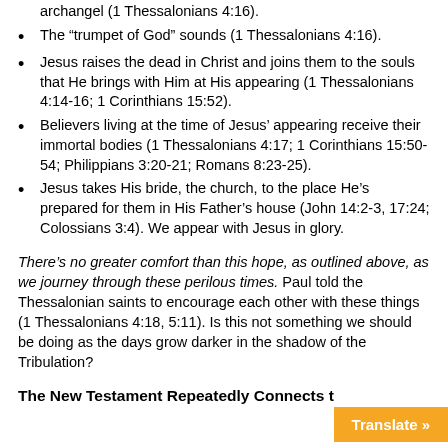archangel (1 Thessalonians 4:16).
The “trumpet of God” sounds (1 Thessalonians 4:16).
Jesus raises the dead in Christ and joins them to the souls that He brings with Him at His appearing (1 Thessalonians 4:14-16; 1 Corinthians 15:52).
Believers living at the time of Jesus’ appearing receive their immortal bodies (1 Thessalonians 4:17; 1 Corinthians 15:50-54; Philippians 3:20-21; Romans 8:23-25).
Jesus takes His bride, the church, to the place He’s prepared for them in His Father’s house (John 14:2-3, 17:24; Colossians 3:4). We appear with Jesus in glory.
There’s no greater comfort than this hope, as outlined above, as we journey through these perilous times. Paul told the Thessalonian saints to encourage each other with these things (1 Thessalonians 4:18, 5:11). Is this not something we should be doing as the days grow darker in the shadow of the Tribulation?
The New Testament Repeatedly Connects t